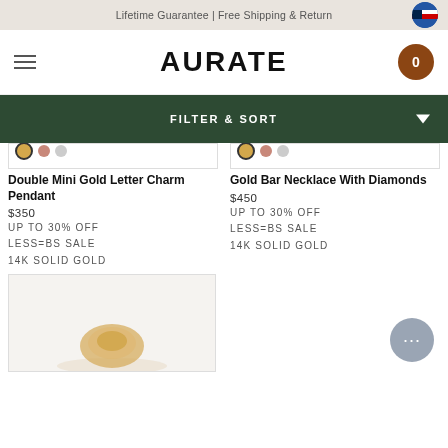Lifetime Guarantee | Free Shipping & Return
AURATE
FILTER & SORT
Double Mini Gold Letter Charm Pendant
$350
UP TO 30% OFF
LESS=BS SALE
14K SOLID GOLD
Gold Bar Necklace With Diamonds
$450
UP TO 30% OFF
LESS=BS SALE
14K SOLID GOLD